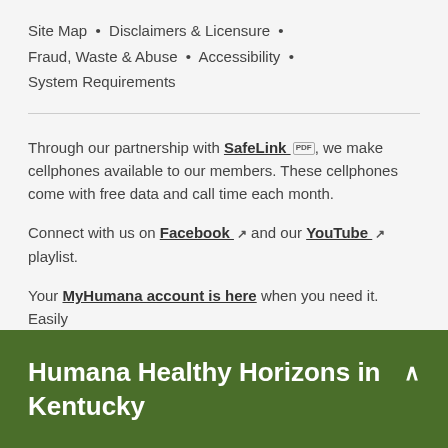Site Map • Disclaimers & Licensure • Fraud, Waste & Abuse • Accessibility • System Requirements
Through our partnership with SafeLink [PDF], we make cellphones available to our members. These cellphones come with free data and call time each month.
Connect with us on Facebook [external link] and our YouTube [external link] playlist.
Your MyHumana account is here when you need it. Easily
Humana Healthy Horizons in Kentucky